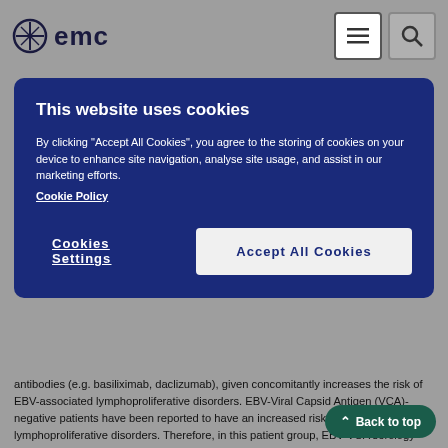emc
[Figure (screenshot): Cookie consent banner with dark blue background. Title: 'This website uses cookies'. Body text about accepting cookies. Buttons: 'Cookies Settings' and 'Accept All Cookies'.]
antibodies (e.g. basiliximab, daclizumab), given concomitantly increases the risk of EBV-associated lymphoproliferative disorders. EBV-Viral Capsid Antigen (VCA)-negative patients have been reported to have an increased risk of developing lymphoproliferative disorders. Therefore, in this patient group, EBV-VCA serology should be ascertained before starting treatment with Envarsus. During treatment, careful monitoring with EBV-PCR (Polymerase-Chain-Reaction) is recommended. Positive EBV-PCR may persist for months and is per se not indicative of lymphoproliferative disease or lymphoma.
As with other potent immunosuppressive compounds, the risk of secondary cancer is unknown (see section 4.8).